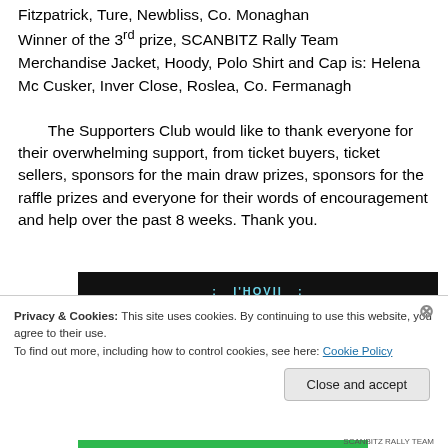Fitzpatrick, Ture, Newbliss, Co. Monaghan Winner of the 3rd prize, SCANBITZ Rally Team Merchandise Jacket, Hoody, Polo Shirt and Cap is: Helena Mc Cusker, Inver Close, Roslea, Co. Fermanagh

The Supporters Club would like to thank everyone for their overwhelming support, from ticket buyers, ticket sellers, sponsors for the main draw prizes, sponsors for the raffle prizes and everyone for their words of encouragement and help over the past 8 weeks. Thank you.
[Figure (other): Dark banner image with SCANBITZ rally team branding text]
Privacy & Cookies: This site uses cookies. By continuing to use this website, you agree to their use. To find out more, including how to control cookies, see here: Cookie Policy